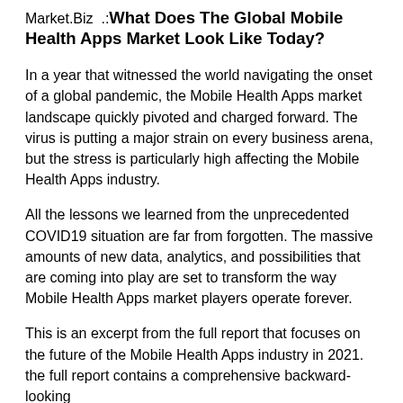Market.Biz .: What Does The Global Mobile Health Apps Market Look Like Today?
In a year that witnessed the world navigating the onset of a global pandemic, the Mobile Health Apps market landscape quickly pivoted and charged forward. The virus is putting a major strain on every business arena, but the stress is particularly high affecting the Mobile Health Apps industry.
All the lessons we learned from the unprecedented COVID19 situation are far from forgotten. The massive amounts of new data, analytics, and possibilities that are coming into play are set to transform the way Mobile Health Apps market players operate forever.
This is an excerpt from the full report that focuses on the future of the Mobile Health Apps industry in 2021. the full report contains a comprehensive backward-looking